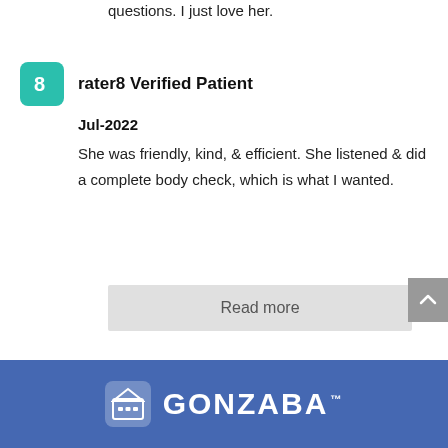questions. I just love her.
rater8 Verified Patient
Jul-2022
She was friendly, kind, & efficient. She listened & did a complete body check, which is what I wanted.
Read more
[Figure (logo): Gonzaba logo with building/house icon on blue footer background]